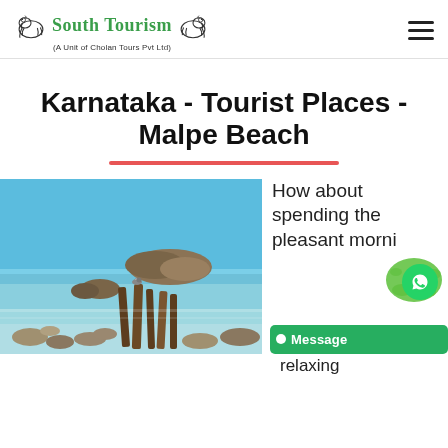South Tourism (A Unit of Cholan Tours Pvt Ltd)
Karnataka - Tourist Places - Malpe Beach
[Figure (photo): Malpe Beach scene with rocky outcrops, calm sea water, and a bird perched on weathered wooden poles in the foreground. Blue sky and a rocky island in the background.]
How about spending the pleasant morning relaxing